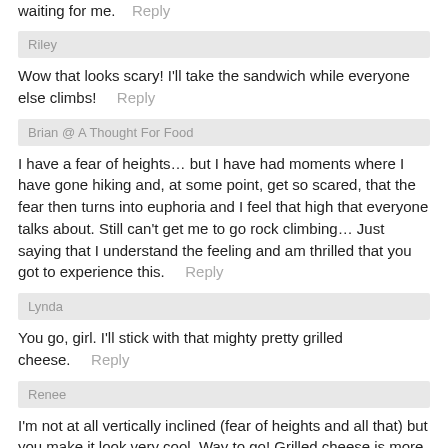waiting for me.  Reply
Riley
Wow that looks scary! I'll take the sandwich while everyone else climbs!   Reply
Brian @ A Thought For Food
I have a fear of heights… but I have had moments where I have gone hiking and, at some point, get so scared, that the fear then turns into euphoria and I feel that high that everyone talks about. Still can't get me to go rock climbing… Just saying that I understand the feeling and am thrilled that you got to experience this.   Reply
Lynda
You go, girl. I'll stick with that mighty pretty grilled cheese.   Reply
Renee
I'm not at all vertically inclined (fear of heights and all that) but you make it look very cool. Way to go! Grilled cheese is more my style, and this one looks awesome. I like